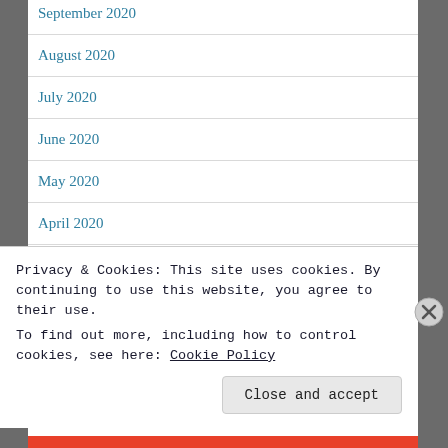September 2020
August 2020
July 2020
June 2020
May 2020
April 2020
March 2020
February 2020
Privacy & Cookies: This site uses cookies. By continuing to use this website, you agree to their use.
To find out more, including how to control cookies, see here: Cookie Policy
Close and accept